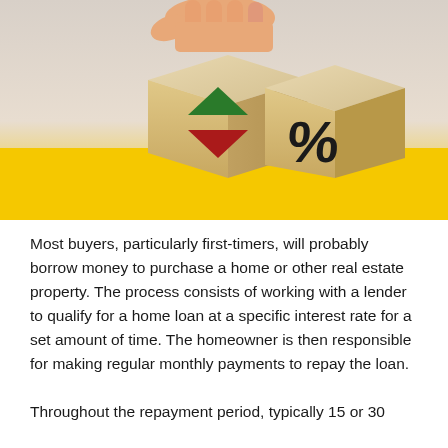[Figure (photo): A hand placing a wooden cube with a green upward arrow and red downward arrow next to another wooden cube showing a percent sign (%), on a yellow background. Illustrating interest rate changes.]
Most buyers, particularly first-timers, will probably borrow money to purchase a home or other real estate property. The process consists of working with a lender to qualify for a home loan at a specific interest rate for a set amount of time. The homeowner is then responsible for making regular monthly payments to repay the loan.
Throughout the repayment period, typically 15 or 30